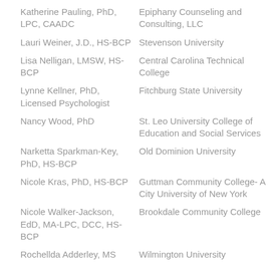| Name | Institution |
| --- | --- |
| Katherine Pauling, PhD, LPC, CAADC | Epiphany Counseling and Consulting, LLC |
| Lauri Weiner, J.D., HS-BCP | Stevenson University |
| Lisa Nelligan, LMSW, HS-BCP | Central Carolina Technical College |
| Lynne Kellner, PhD, Licensed Psychologist | Fitchburg State University |
| Nancy Wood, PhD | St. Leo University College of Education and Social Services |
| Narketta Sparkman-Key, PhD, HS-BCP | Old Dominion University |
| Nicole Kras, PhD, HS-BCP | Guttman Community College- A City University of New York |
| Nicole Walker-Jackson, EdD, MA-LPC, DCC, HS-BCP | Brookdale Community College |
| Rochellda Adderley, MS | Wilmington University |